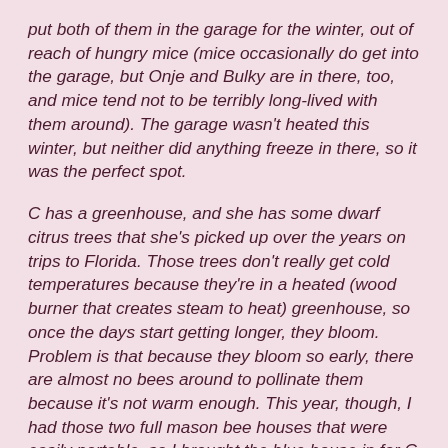put both of them in the garage for the winter, out of reach of hungry mice (mice occasionally do get into the garage, but Onje and Bulky are in there, too, and mice tend not to be terribly long-lived with them around). The garage wasn't heated this winter, but neither did anything freeze in there, so it was the perfect spot.
C has a greenhouse, and she has some dwarf citrus trees that she's picked up over the years on trips to Florida. Those trees don't really get cold temperatures because they're in a heated (wood burner that creates steam to heat) greenhouse, so once the days start getting longer, they bloom. Problem is that because they bloom so early, there are almost no bees around to pollinate them because it's not warm enough. This year, though, I had those two full mason bee houses that were easily portable, so I brought the blue house in for C to use. The house is the all cedar one that I just